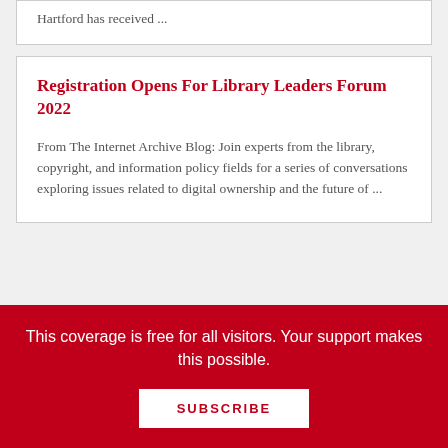Hartford has received ...
Registration Opens For Library Leaders Forum 2022
From The Internet Archive Blog: Join experts from the library, copyright, and information policy fields for a series of conversations exploring issues related to digital ownership and the future of ...
University of Virginia (UVa) Library Archive Collects Community's
This coverage is free for all visitors. Your support makes this possible.
SUBSCRIBE